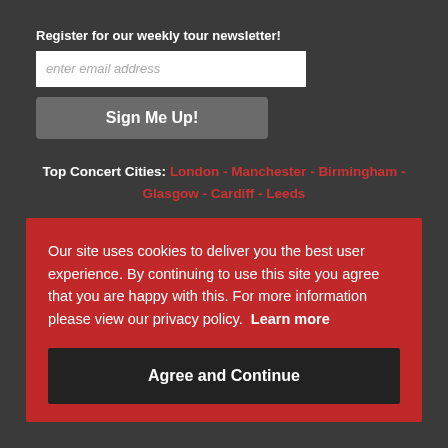Register for our weekly tour newsletter!
enter email address
Sign Me Up!
Top Concert Cities: London - Manchester - Birmingham - Glasgow - Cardiff - Leeds
Our site uses cookies to deliver you the best user experience. By continuing to use this site you agree that you are happy with this. For more information please view our privacy policy.  Learn more
Agree and Continue